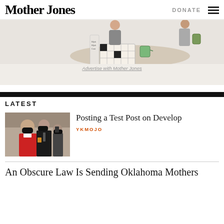Mother Jones
DONATE
[Figure (illustration): Cartoon illustration of people at a table with crossword puzzle and coffee, and a woman with a bag]
Advertise with Mother Jones
LATEST
[Figure (photo): Photo of politicians wearing black masks, a woman in a red jacket in the foreground]
Posting a Test Post on Develop
YKMOJO
An Obscure Law Is Sending Oklahoma Mothers